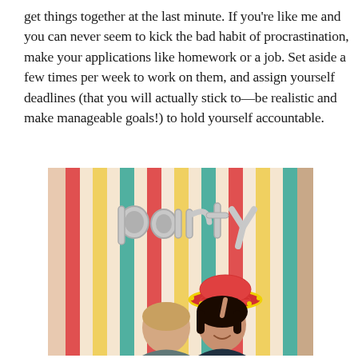get things together at the last minute. If you're like me and you can never seem to kick the bad habit of procrastination, make your applications like homework or a job. Set aside a few times per week to work on them, and assign yourself deadlines (that you will actually stick to—be realistic and make manageable goals!) to hold yourself accountable.
[Figure (photo): Two people posing in front of a colorful striped backdrop with silver balloon letters spelling 'party'. One person holds a sombrero prop. The backdrop has vertical stripes in red, yellow, teal, pink, and cream colors.]